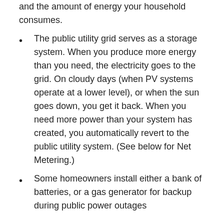and the amount of energy your household consumes.
The public utility grid serves as a storage system. When you produce more energy than you need, the electricity goes to the grid. On cloudy days (when PV systems operate at a lower level), or when the sun goes down, you get it back. When you need more power than your system has created, you automatically revert to the public utility system. (See below for Net Metering.)
Some homeowners install either a bank of batteries, or a gas generator for backup during public power outages
What You Need
The most cost effective way to go solar is to build an energy efficient house from the ground up, with passive